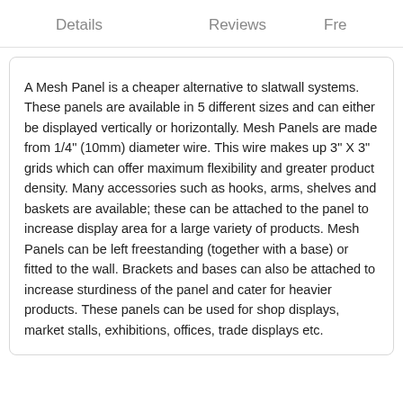Details   Reviews   Fre
A Mesh Panel is a cheaper alternative to slatwall systems. These panels are available in 5 different sizes and can either be displayed vertically or horizontally. Mesh Panels are made from 1/4" (10mm) diameter wire. This wire makes up 3" X 3" grids which can offer maximum flexibility and greater product density. Many accessories such as hooks, arms, shelves and baskets are available; these can be attached to the panel to increase display area for a large variety of products. Mesh Panels can be left freestanding (together with a base) or fitted to the wall. Brackets and bases can also be attached to increase sturdiness of the panel and cater for heavier products. These panels can be used for shop displays, market stalls, exhibitions, offices, trade displays etc.